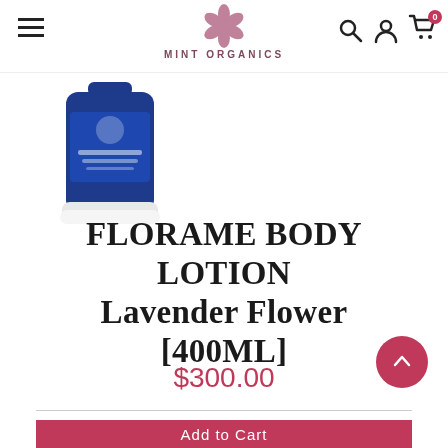MINT ORGANICS
[Figure (photo): Blue cylindrical product bottle of Florame body lotion, partially visible at top left]
FLORAME BODY LOTION Lavender Flower [400ML]
$300.00
1